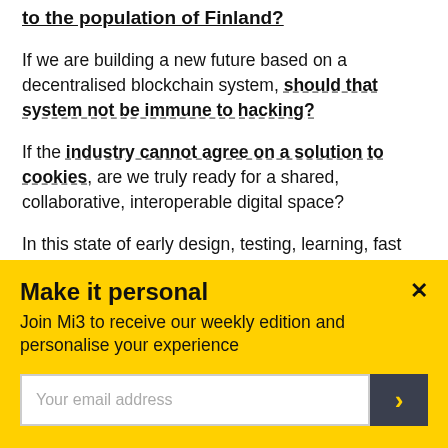to the population of Finland?
If we are building a new future based on a decentralised blockchain system, should that system not be immune to hacking?
If the industry cannot agree on a solution to cookies, are we truly ready for a shared, collaborative, interoperable digital space?
In this state of early design, testing, learning, fast failing and blue-sky thinking, we should be able to agree that Web 3.0 must be an inclusive and safe space for all who use it, that privacy is a right not a privilege, and that competition is healthy for the ecosystem.
Make it personal
Join Mi3 to receive our weekly edition and personalise your experience